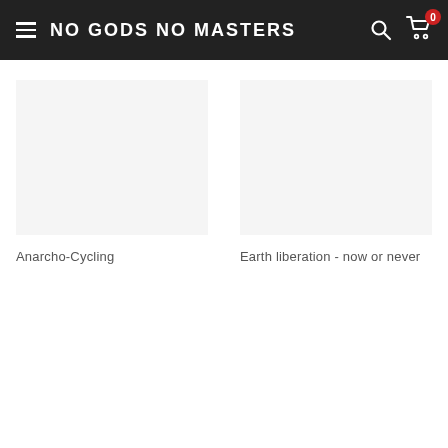NO GODS NO MASTERS
Anarcho-Cycling
Earth liberation - now or never